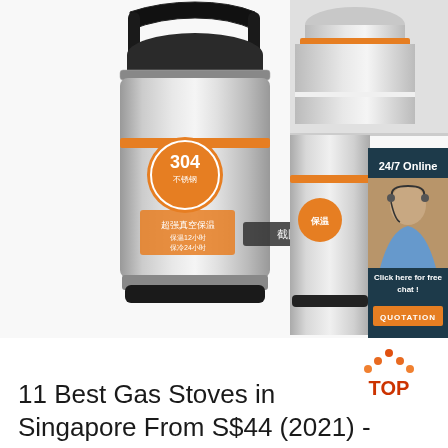[Figure (photo): Stainless steel insulated food thermos jar with black carry handle, orange accent ring, and orange label showing '304' stainless steel marking with Chinese text. Screenshot tooltip visible reading '截图(Alt + A)'. Right side shows close-up of thermos top and a second thermos view alongside a customer service chat widget with '24/7 Online' text, a woman with headset, 'Click here for free chat!' text, and orange QUOTATION button.]
[Figure (logo): TOP icon — red text 'TOP' with orange/red dot pattern above forming an inverted V shape]
11 Best Gas Stoves in Singapore From S$44 (2021) -